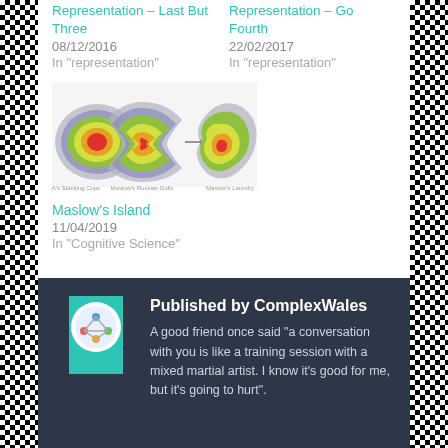Representation – Last But Three
08/12/2016
In "representation"
Representation – Go Fourth
22/02/2017
In "representation"
[Figure (illustration): Three diagrams illustrating Maslow's hierarchy: A's Stacking Cups (bullseye/concentric ellipses), Maslow's Russian Dolls (hourglass shape with concentric layers), and Maslow's Laundry (irregular blob shape with concentric layers). An arrow points from the Russian Dolls to the Laundry shape.]
Maslow's Island
11/04/2019
In "Cognitive Science"
Published by ComplexWales
A good friend once said "a conversation with you is like a training session with a mixed martial artist. I know it's good for me, but it's going to hurt".